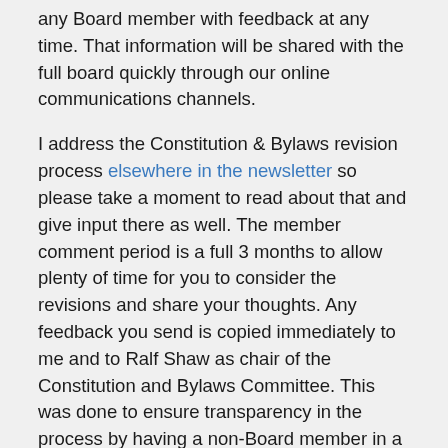any Board member with feedback at any time. That information will be shared with the full board quickly through our online communications channels.
I address the Constitution & Bylaws revision process elsewhere in the newsletter so please take a moment to read about that and give input there as well. The member comment period is a full 3 months to allow plenty of time for you to consider the revisions and share your thoughts. Any feedback you send is copied immediately to me and to Ralf Shaw as chair of the Constitution and Bylaws Committee. This was done to ensure transparency in the process by having a non-Board member in a position to review feedback.  More information on the process is available here.
As we close out this year, I hope you plan to remain active and engaged with ASIS&T in the future. We value your participation greatly and are here to help you in any way we can.